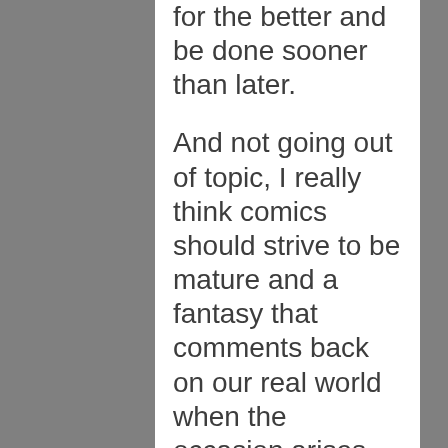for the better and be done sooner than later.

And not going out of topic, I really think comics should strive to be mature and a fantasy that comments back on our real world when the occasion arises and depending on the creator